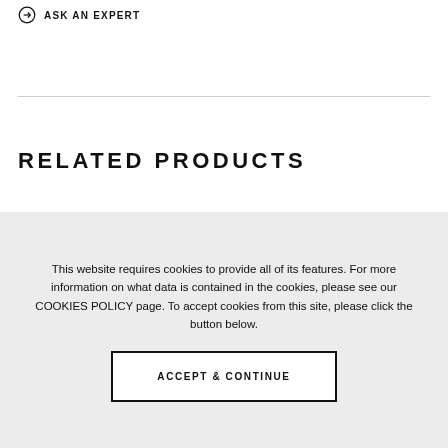→ ASK AN EXPERT
RELATED PRODUCTS
This website requires cookies to provide all of its features. For more information on what data is contained in the cookies, please see our COOKIES POLICY page. To accept cookies from this site, please click the button below.
ACCEPT & CONTINUE